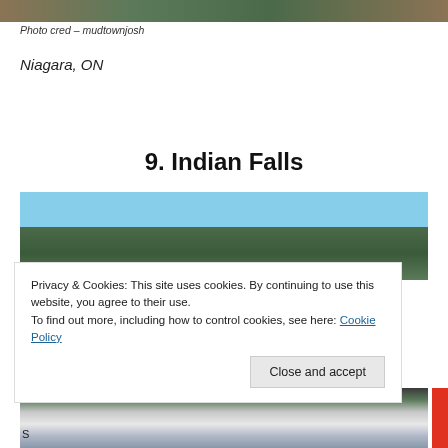[Figure (photo): Top strip of a nature/outdoor photo, cropped]
Photo cred – mudtownjosh
Niagara, ON
9. Indian Falls
[Figure (photo): Outdoor landscape photo showing trees and blue sky — Indian Falls area]
Privacy & Cookies: This site uses cookies. By continuing to use this website, you agree to their use.
To find out more, including how to control cookies, see here: Cookie Policy
[Figure (photo): Waterfall photo — Indian Falls, partially obscured by cookie banner]
S...